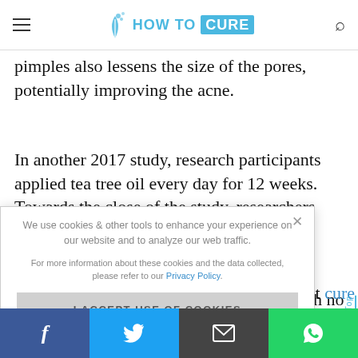HOW TO CURE (logo)
pimples also lessens the size of the pores, potentially improving the acne.
In another 2017 study, research participants applied tea tree oil every day for 12 weeks. Towards the close of the study, researchers found tea tree ... with no ... dy found ... ropolis ... along with ... otent cure
[Figure (screenshot): Cookie consent modal overlay with text: 'We use cookies & other tools to enhance your experience on our website and to analyze our web traffic. For more information about these cookies and the data collected, please refer to our Privacy Policy.' with 'I ACCEPT USE OF COOKIES' button. Close (x) button top right.]
Social sharing bar: Facebook, Twitter, Email, WhatsApp